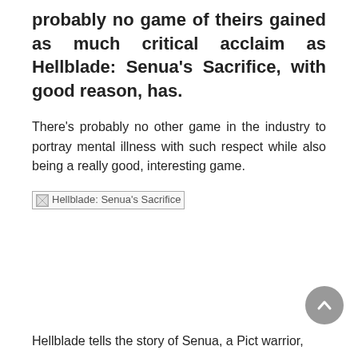probably no game of theirs gained as much critical acclaim as Hellblade: Senua’s Sacrifice, with good reason, has.
There’s probably no other game in the industry to portray mental illness with such respect while also being a really good, interesting game.
[Figure (photo): Broken image placeholder for Hellblade: Senua’s Sacrifice]
Hellblade tells the story of Senua, a Pict warrior,